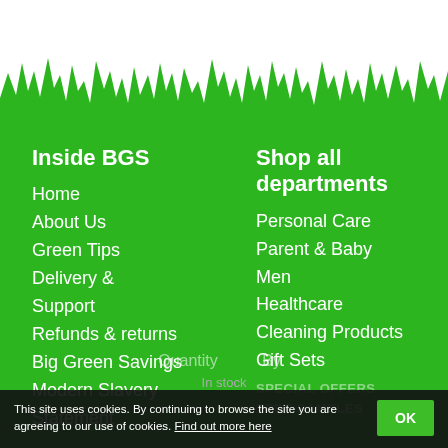[Figure (illustration): Green grass spikes / lawn silhouette decorative banner against white background, transitioning to solid green below]
Inside BGS
Home
About Us
Green Tips
Delivery & Support
Refunds & returns
Big Green Savings
Modern Slavery Statement
Shop all departments
Personal Care
Parent & Baby
Men
Healthcare
Cleaning Products
Gift Sets
SPECIAL OFFERS
FREE SAMPLES
Quantity
In stock
This site uses cookies. By continuing to browse the site you are agreeing to our use of cookies. Find out more here  OK